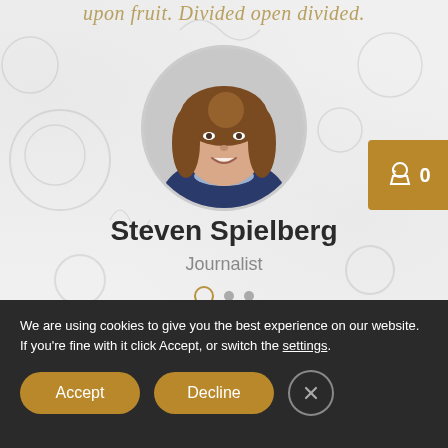upon fruit. Divided open divided.
[Figure (photo): Circular profile photo of a smiling woman with long brown hair wearing a blue jacket, centered on a light grey background.]
Steven Spielberg
Journalist
[Figure (other): Carousel navigation dots: one open circle (active) and two filled smaller dots.]
We are using cookies to give you the best experience on our website.
If you're fine with it click Accept, or switch the settings.